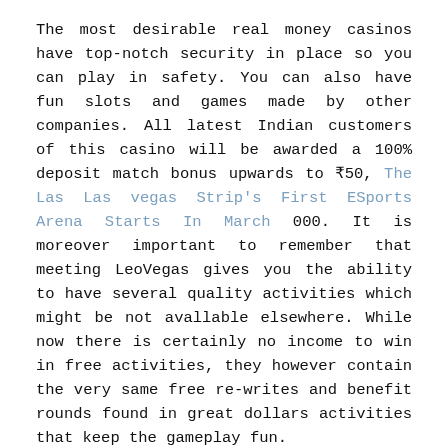The most desirable real money casinos have top-notch security in place so you can play in safety. You can also have fun slots and games made by other companies. All latest Indian customers of this casino will be awarded a 100% deposit match bonus upwards to ₹50, The Las Las vegas Strip's First ESports Arena Starts In March 000. It is moreover important to remember that meeting LeoVegas gives you the ability to have several quality activities which might be not avallable elsewhere. While now there is certainly no income to win in free activities, they however contain the very same free re-writes and benefit rounds found in great dollars activities that keep the gameplay fun.
You have plenty of individuals standing around the table, the bets all have funny names, and you actually need an